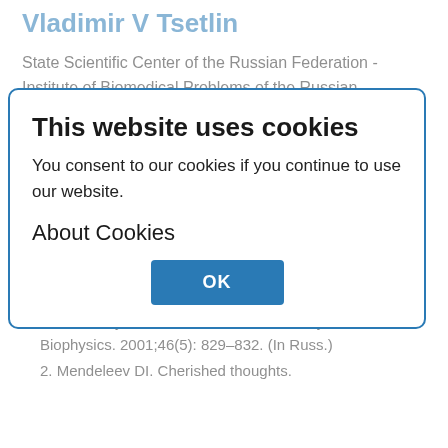Vladimir V Tsetlin
State Scientific Center of the Russian Federation - Institute of Biomedical Problems of the Russian Academy of Sciences
This website uses cookies
You consent to our cookies if you continue to use our website.
About Cookies
OK
References
1. Ageev IM, Shishkin GG. Correlation of solar activity with the electrical conductivity of water. Biophysics. 2001;46(5): 829–832. (In Russ.)
2. Mendeleev DI. Cherished thoughts.